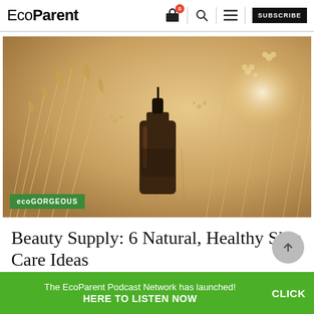EcoParent — navigation header with logo, cart, search, menu, and SUBSCRIBE button
[Figure (photo): Hero image of a dark amber glass dropper bottle surrounded by dried wheat and wildflowers on a warm beige background, with a green 'ecoGORGEOUS' badge overlay in the lower left]
Beauty Supply: 6 Natural, Healthy Skin Care Ideas
BY ECOPARENT MAGAZINE
The EcoParent Podcast Network has launched! CLICK HERE TO LISTEN NOW